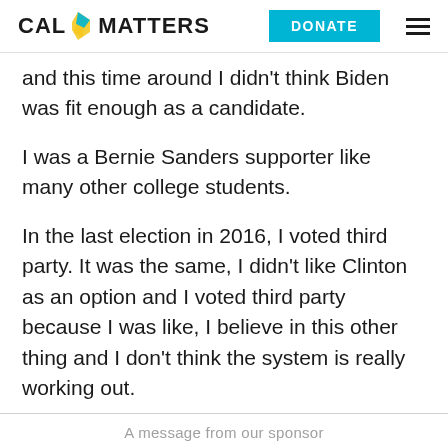CALMATTERS | DONATE
and this time around I didn't think Biden was fit enough as a candidate.
I was a Bernie Sanders supporter like many other college students.
In the last election in 2016, I voted third party. It was the same, I didn't like Clinton as an option and I voted third party because I was like, I believe in this other thing and I don't think the system is really working out.
A message from our sponsor